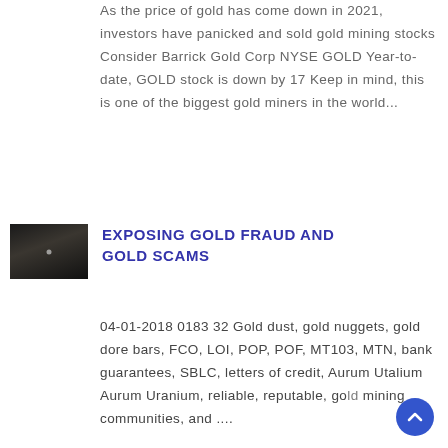As the price of gold has come down in 2021, investors have panicked and sold gold mining stocks Consider Barrick Gold Corp NYSE GOLD Year-to-date, GOLD stock is down by 17 Keep in mind, this is one of the biggest gold miners in the world...
[Figure (photo): Small dark thumbnail image, appears to show a mining or dark industrial scene]
EXPOSING GOLD FRAUD AND GOLD SCAMS
04-01-2018 0183 32 Gold dust, gold nuggets, gold dore bars, FCO, LOI, POP, POF, MT103, MTN, bank guarantees, SBLC, letters of credit, Aurum Utalium Aurum Uranium, reliable, reputable, gold mining communities, and ....